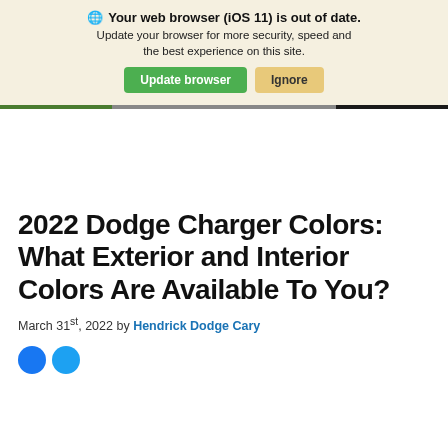🌐 Your web browser (iOS 11) is out of date. Update your browser for more security, speed and the best experience on this site. [Update browser] [Ignore]
2022 Dodge Charger Colors: What Exterior and Interior Colors Are Available To You?
March 31st, 2022 by Hendrick Dodge Cary